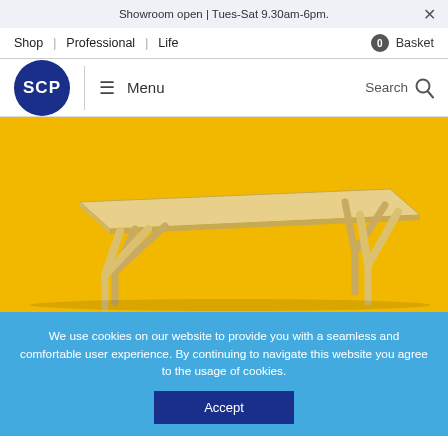Showroom open | Tues-Sat 9.30am-6pm.
Shop | Professional | Life | 0 Basket
SCP Menu Search
[Figure (photo): A wooden dining table with angled legs photographed against a bright yellow background]
We use cookies on our website to provide you with a seamless and comfortable user experience. By continuing to navigate this website you agree to the usage of cookies.